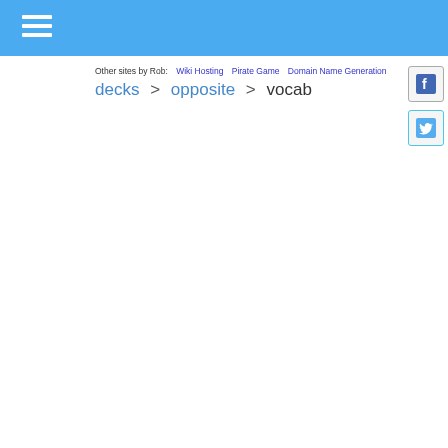[Figure (other): Blue header bar with hamburger menu icon (three white horizontal lines)]
Other sites by Rob: Wiki Hosting  Pirate Game  Domain Name Generation
decks > opposite > vocab